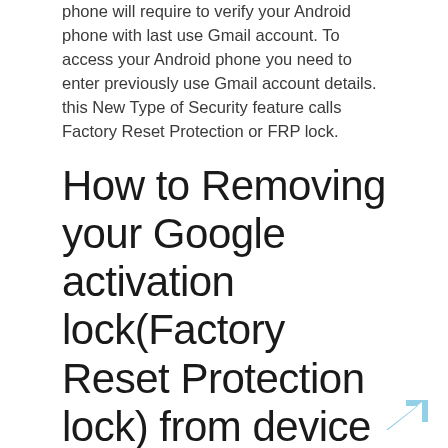phone will require to verify your Android phone with last use Gmail account. To access your Android phone you need to enter previously use Gmail account details. this New Type of Security feature calls Factory Reset Protection or FRP lock.
How to Removing your Google activation lock(Factory Reset Protection lock) from device settings on your phone.
By default, the Factory reset protection lock feature is automatically enabled, once you add your Google account to your android device it disabled